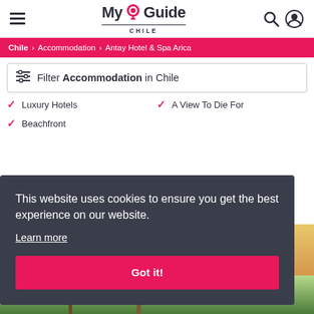MyGuide CHILE — navigation header with hamburger menu, logo, search and account icons
Chile > Accommodation > Antay Hotel & Spa Arica
Filter Accommodation in Chile
Luxury Hotels
A View To Die For
Beachfront
This website uses cookies to ensure you get the best experience on our website.
Learn more
Got it!